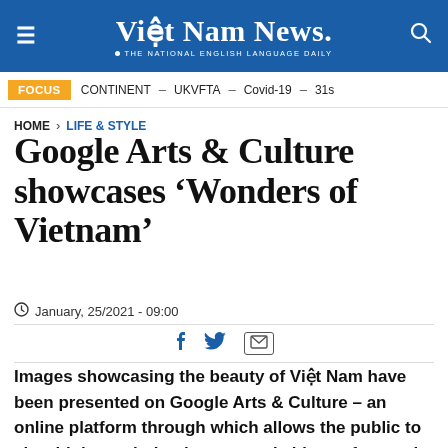Việt Nam News. THE NATIONAL ENGLISH LANGUAGE DAILY
FOCUS  CONTINENT – UKVFTA – Covid-19 – 31s
HOME > LIFE & STYLE
Google Arts & Culture showcases 'Wonders of Vietnam'
January, 25/2021 - 09:00
Images showcasing the beauty of Việt Nam have been presented on Google Arts & Culture – an online platform through which allows the public to view high-resolution images and videos of artworks